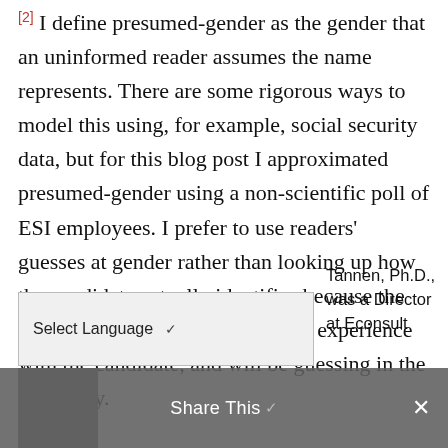[2] I define presumed-gender as the gender that an uninformed reader assumes the name represents. There are some rigorous ways to model this using, for example, social security data, but for this blog post I approximated presumed-gender using a non-scientific poll of ESI employees. I prefer to use readers' guesses at gender rather than looking up how the candidate actually identifies because the electorate likely will have no real experience with the candidate, and will be guessing in the same way.
Select Language
Tannen, Ph.D., was a Director at Econsult
Share This